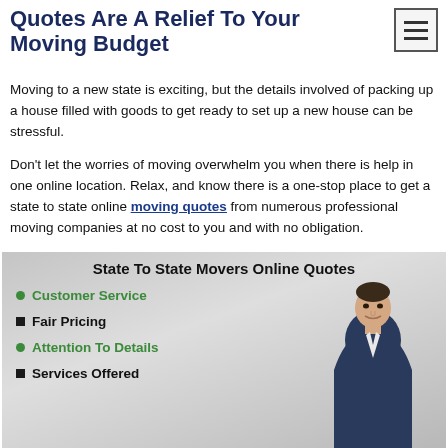Quotes Are A Relief To Your Moving Budget
Moving to a new state is exciting, but the details involved of packing up a house filled with goods to get ready to set up a new house can be stressful.
Don't let the worries of moving overwhelm you when there is help in one online location. Relax, and know there is a one-stop place to get a state to state online moving quotes from numerous professional moving companies at no cost to you and with no obligation.
[Figure (infographic): State To State Movers Online Quotes infographic with bullet points: Customer Service, Fair Pricing, Attention To Details, Services Offered, and a photo of a man in a suit on the right side.]